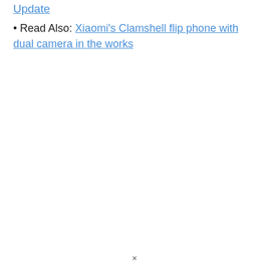Update
• Read Also: Xiaomi's Clamshell flip phone with dual camera in the works